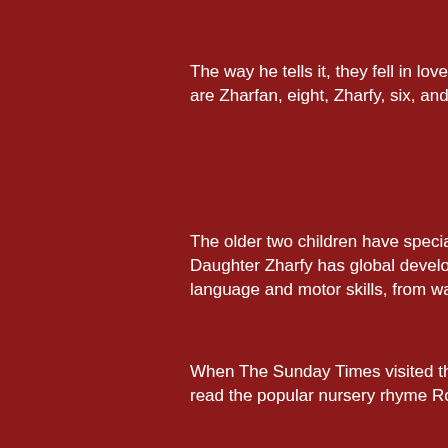The way he tells it, they fell in love, he got a divorce and the children are Zharfan, eight, Zharfy, six, and Zharfitri, two.
The older two children have special needs - son... Daughter Zharfy has global developmental delay... language and motor skills, from walking to writing.
When The Sunday Times visited the family's three... read the popular nursery rhyme Rock-a-Bye Baby...
When her father asked her to point out the word "r... the word "cradle".
"She is six and still can't read," he said sadly. "Tha...
Ms Dariyah, who was initially on a long-term soc... can work if she wants to.